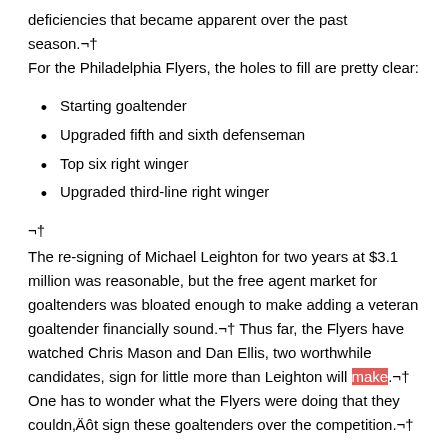deficiencies that became apparent over the past season.¬† For the Philadelphia Flyers, the holes to fill are pretty clear:
Starting goaltender
Upgraded fifth and sixth defenseman
Top six right winger
Upgraded third-line right winger
¬†
The re-signing of Michael Leighton for two years at $3.1 million was reasonable, but the free agent market for goaltenders was bloated enough to make adding a veteran goaltender financially sound.¬† Thus far, the Flyers have watched Chris Mason and Dan Ellis, two worthwhile candidates, sign for little more than Leighton will make.¬† One has to wonder what the Flyers were doing that they couldn‚Äôt sign these goaltenders over the competition.¬†